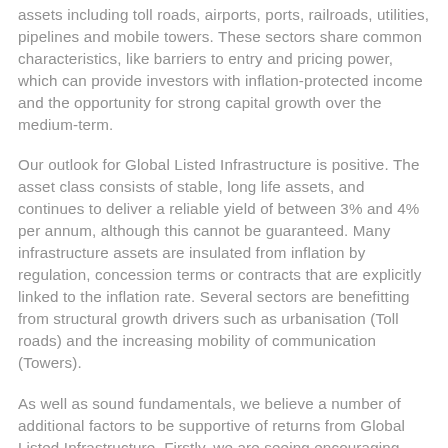assets including toll roads, airports, ports, railroads, utilities, pipelines and mobile towers. These sectors share common characteristics, like barriers to entry and pricing power, which can provide investors with inflation-protected income and the opportunity for strong capital growth over the medium-term.
Our outlook for Global Listed Infrastructure is positive. The asset class consists of stable, long life assets, and continues to deliver a reliable yield of between 3% and 4% per annum, although this cannot be guaranteed. Many infrastructure assets are insulated from inflation by regulation, concession terms or contracts that are explicitly linked to the inflation rate. Several sectors are benefitting from structural growth drivers such as urbanisation (Toll roads) and the increasing mobility of communication (Towers).
As well as sound fundamentals, we believe a number of additional factors to be supportive of returns from Global Listed Infrastructure. Firstly, we are seeing encouraging signs of business de-risking and simplification. Pipeline companies